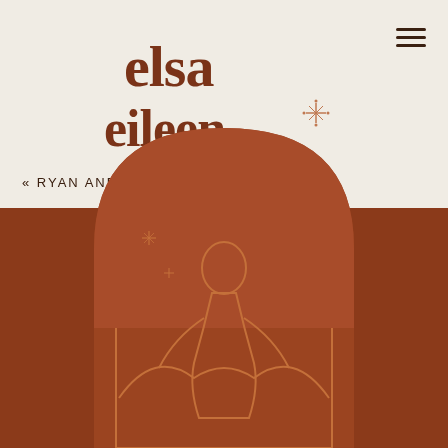elsa eileen
« RYAN AND ALLISON – GLACIER NA...
3 REASONS TO HAVE A DAY AFTER ...
[Figure (illustration): Decorative arch illustration with line art of a figure/landscape on a brown/terracotta background, arch shape with rounded top, terracotta brown color scheme]